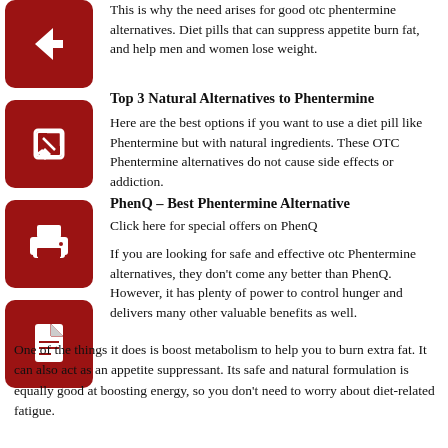This is why the need arises for good otc phentermine alternatives. Diet pills that can suppress appetite burn fat, and help men and women lose weight.
[Figure (illustration): Red square icon button with white left-arrow]
Top 3 Natural Alternatives to Phentermine
Here are the best options if you want to use a diet pill like Phentermine but with natural ingredients. These OTC Phentermine alternatives do not cause side effects or addiction.
[Figure (illustration): Red square icon button with white edit/pencil icon]
PhenQ – Best Phentermine Alternative
Click here for special offers on PhenQ
[Figure (illustration): Red square icon button with white printer icon]
If you are looking for safe and effective otc Phentermine alternatives, they don't come any better than PhenQ. However, it has plenty of power to control hunger and delivers many other valuable benefits as well.
[Figure (illustration): Red square icon button with white PDF/document icon]
One of the things it does is boost metabolism to help you to burn extra fat. It can also act as an appetite suppressant. Its safe and natural formulation is equally good at boosting energy, so you don't need to worry about diet-related fatigue.
Nor will you need to worry about your diet affecting your state of mind while you are using PhenQ because the formulation provides ingredients that positively influence mood.
PhenQ is very popular. It's helped thousands of people to lose weight. Some of them...